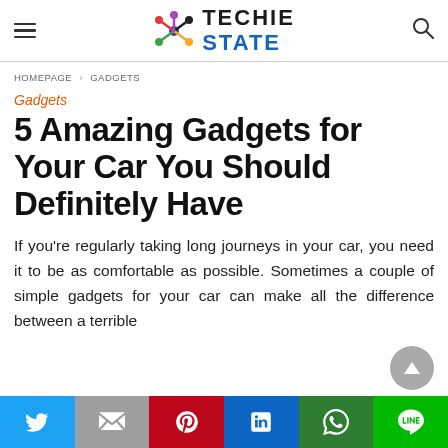TECHIE STATE
HOMEPAGE > GADGETS
Gadgets
5 Amazing Gadgets for Your Car You Should Definitely Have
If you're regularly taking long journeys in your car, you need it to be as comfortable as possible. Sometimes a couple of simple gadgets for your car can make all the difference between a terrible